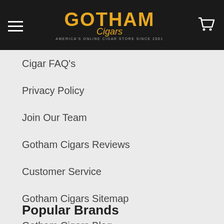Gotham Cigars — AMERICA'S ONLINE CIGAR STORE SINCE 2001
Cigar FAQ's
Privacy Policy
Join Our Team
Gotham Cigars Reviews
Customer Service
Gotham Cigars Sitemap
Gotham Cigars Blog
Sitemap
Popular Brands